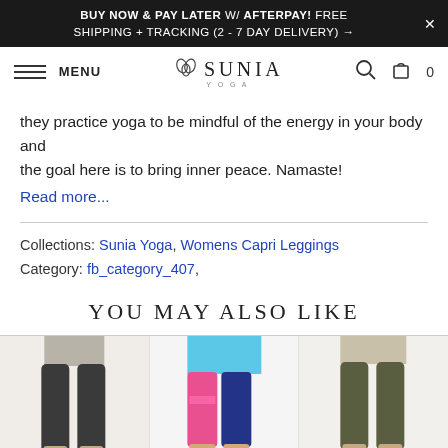BUY NOW & PAY LATER W/ AFTERPAY! FREE SHIPPING + TRACKING (2 - 7 DAY DELIVERY) →
MENU | SUNIA YOGA | 🔍 | 🛍 0
they practice yoga to be mindful of the energy in your body and the goal here is to bring inner peace. Namaste!
Read more...
Collections: Sunia Yoga, Womens Capri Leggings
Category: fb_category_407,
YOU MAY ALSO LIKE
[Figure (photo): Three product photos showing yoga capri leggings: left shows grey/black capris, center shows colorful pink and blue print capris, right shows dark olive/khaki capris.]